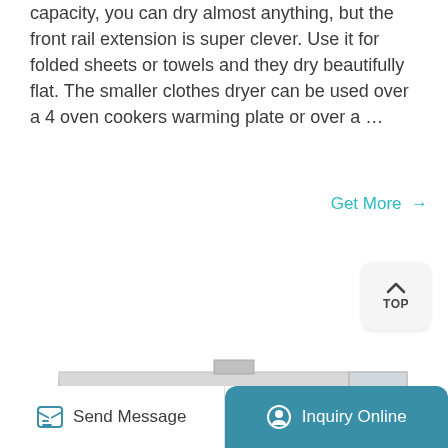capacity, you can dry almost anything, but the front rail extension is super clever. Use it for folded sheets or towels and they dry beautifully flat. The smaller clothes dryer can be used over a 4 oven cookers warming plate or over a …
Get More →
[Figure (photo): Industrial tray dryer / hot air circulation drying oven machine with multiple doors on front and pipe connections on side, silver/white colored stainless steel cabinet.]
Send Message | Inquiry Online